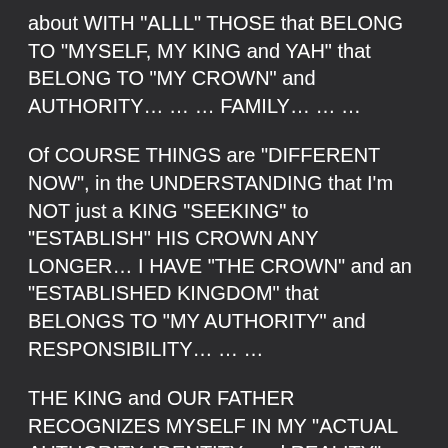about WITH "ALLL" THOSE that BELONG TO "MYSELF, MY KING and YAH" that BELONG TO "MY CROWN" and AUTHORITY… … … FAMILY… … …
Of COURSE THINGS are "DIFFERENT NOW", in the UNDERSTANDING that I'm NOT just a KING "SEEKING" to "ESTABLISH" HIS CROWN ANY LONGER… I HAVE "THE CROWN" and an "ESTABLISHED KINGDOM" that BELONGS TO "MY AUTHORITY" and RESPONSIBILITY… … …
THE KING and OUR FATHER RECOGNIZES MYSELF IN MY "ACTUAL AUTHORITY, IDENTITY, and REALITY"… Which MEANS that "ALLL" of YOU that BELONG to "MY AUTHORITY and CROWN" are "COMPLETELY" COVERED, "ONE WITH", and "SOLELY" RECOGNIZED as the "PROPERTY and HERITAGE" of YAH and THE KINGDOM of LIGHT and LIFE… … …
WHICH is "KINDA" a "BIG DEAL"… … … YOU RECEIVE the LIGHT, LIFE and AUTHORITY that BELONGS to OUR FATHER…